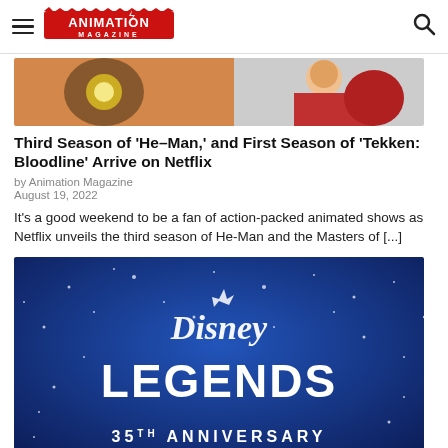Animation Magazine
[Figure (photo): Partial image of animated characters from He-Man and another show, cropped at top]
Third Season of ‘He–Man,’ and First Season of ‘Tekken: Bloodline’ Arrive on Netflix
by Animation Magazine
August 19, 2022
It’s a good weekend to be a fan of action-packed animated shows as Netflix unveils the third season of He-Man and the Masters of […]
[Figure (photo): Disney Legends 35th Anniversary blue promotional image with Disney logo and sparkles]
Don Hahn, Kristen Bell, Chadwick Boseman Are